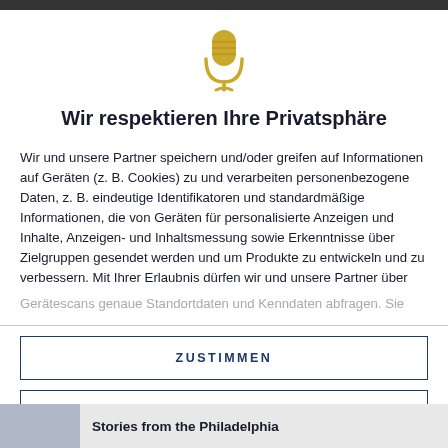[Figure (illustration): Gold microphone icon with a curved cable at the bottom]
Wir respektieren Ihre Privatsphäre
Wir und unsere Partner speichern und/oder greifen auf Informationen auf Geräten (z. B. Cookies) zu und verarbeiten personenbezogene Daten, z. B. eindeutige Identifikatoren und standardmäßige Informationen, die von Geräten für personalisierte Anzeigen und Inhalte, Anzeigen- und Inhaltsmessung sowie Erkenntnisse über Zielgruppen gesendet werden und um Produkte zu entwickeln und zu verbessern. Mit Ihrer Erlaubnis dürfen wir und unsere Partner über
Gerätescans genaue Standortdaten und Kenndaten abfragen. Sie
ZUSTIMMEN
MEHR OPTIONEN
Stories from the Philadelphia